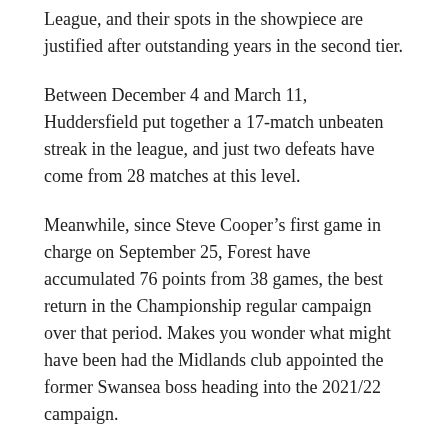League, and their spots in the showpiece are justified after outstanding years in the second tier.
Between December 4 and March 11, Huddersfield put together a 17-match unbeaten streak in the league, and just two defeats have come from 28 matches at this level.
Meanwhile, since Steve Cooper’s first game in charge on September 25, Forest have accumulated 76 points from 38 games, the best return in the Championship regular campaign over that period. Makes you wonder what might have been had the Midlands club appointed the former Swansea boss heading into the 2021/22 campaign.
Embed from Getty Images
Forest conceded five goals fewer than any other team during that period, also the two clubs lost fewer games than Fulham